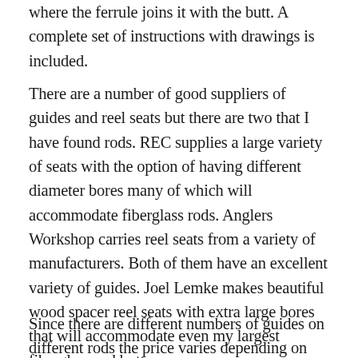where the ferrule joins it with the butt. A complete set of instructions with drawings is included.
There are a number of good suppliers of guides and reel seats but there are two that I have found rods. REC supplies a large variety of seats with the option of having different diameter bores many of which will accommodate fiberglass rods. Anglers Workshop carries reel seats from a variety of manufacturers. Both of them have an excellent variety of guides. Joel Lemke makes beautiful wood spacer reel seats with extra large bores that will accommodate even my largest fiberglass rod butts.
Since there are different numbers of guides on different rods the price varies depending on the